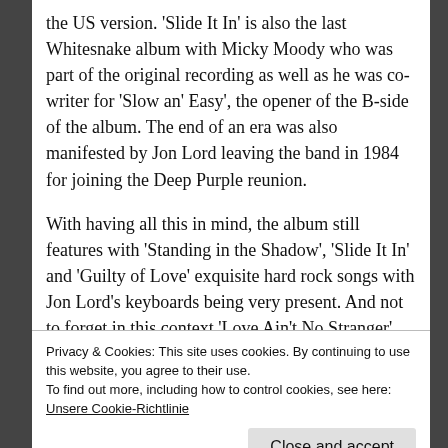the US version. 'Slide It In' is also the last Whitesnake album with Micky Moody who was part of the original recording as well as he was co-writer for 'Slow an' Easy', the opener of the B-side of the album. The end of an era was also manifested by Jon Lord leaving the band in 1984 for joining the Deep Purple reunion.
With having all this in mind, the album still features with 'Standing in the Shadow', 'Slide It In' and 'Guilty of Love' exquisite hard rock songs with Jon Lord's keyboards being very present. And not to forget in this context 'Love Ain't No Stranger'.
Privacy & Cookies: This site uses cookies. By continuing to use this website, you agree to their use. To find out more, including how to control cookies, see here: Unsere Cookie-Richtlinie
(1987) which was a big commercial success with